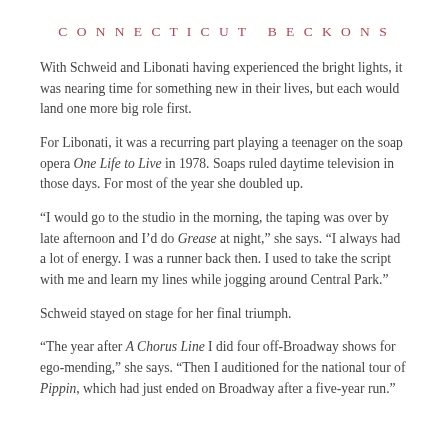CONNECTICUT BECKONS
With Schweid and Libonati having experienced the bright lights, it was nearing time for something new in their lives, but each would land one more big role first.
For Libonati, it was a recurring part playing a teenager on the soap opera One Life to Live in 1978. Soaps ruled daytime television in those days. For most of the year she doubled up.
“I would go to the studio in the morning, the taping was over by late afternoon and I’d do Grease at night,” she says. “I always had a lot of energy. I was a runner back then. I used to take the script with me and learn my lines while jogging around Central Park.”
Schweid stayed on stage for her final triumph.
“The year after A Chorus Line I did four off-Broadway shows for ego-mending,” she says. “Then I auditioned for the national tour of Pippin, which had just ended on Broadway after a five-year run.”